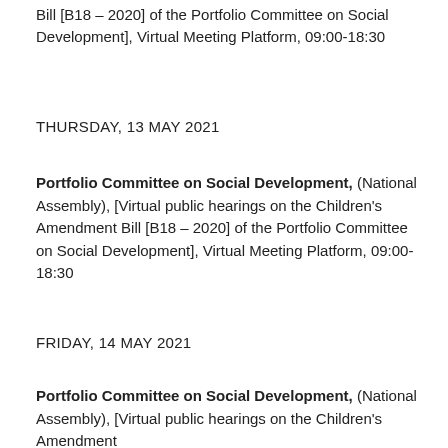Bill [B18 – 2020] of the Portfolio Committee on Social Development], Virtual Meeting Platform, 09:00-18:30
THURSDAY, 13 MAY 2021
Portfolio Committee on Social Development, (National Assembly), [Virtual public hearings on the Children's Amendment Bill [B18 – 2020] of the Portfolio Committee on Social Development], Virtual Meeting Platform, 09:00-18:30
FRIDAY, 14 MAY 2021
Portfolio Committee on Social Development, (National Assembly), [Virtual public hearings on the Children's Amendment